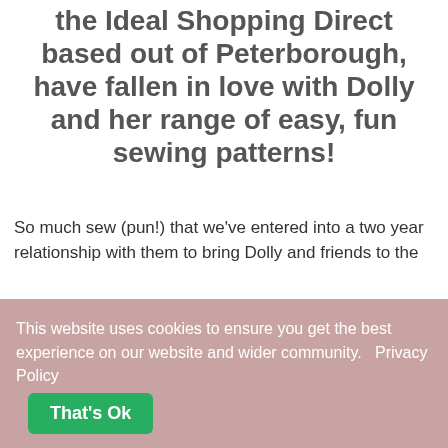the Ideal Shopping Direct based out of Peterborough, have fallen in love with Dolly and her range of easy, fun sewing patterns!
So much sew (pun!) that we've entered into a two year relationship with them to bring Dolly and friends to the big screen!
Over the last few months Dolly and I have been buried in paper work and preparation for what promises to be a colourful and informative first show with Create and Craft sometime after our screen test in March.
This website uses cookies to ensure you get the best experience on our website and wider community. Privacy Policy